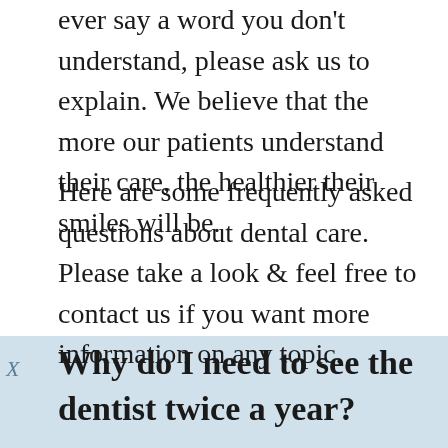ever say a word you don't understand, please ask us to explain. We believe that the more our patients understand their care, the healthier their smiles will be.
Here are some frequently asked questions about dental care. Please take a look & feel free to contact us if you want more information on any topic.
Why do I need to see the dentist twice a year?
Some text continues below the heading...